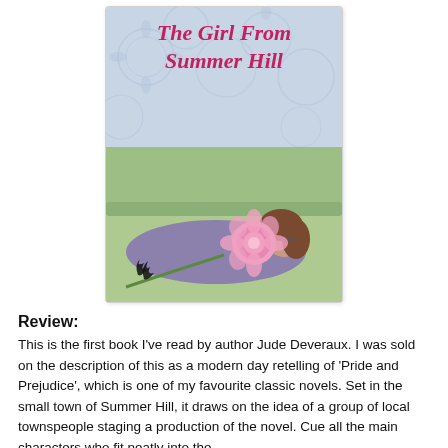[Figure (illustration): Book cover of 'The Girl From Summer Hill' showing a woman lying on a green sofa holding a pink peony flower, with a light blue floral patterned background at top and the title in pink italic serif font.]
Review:
This is the first book I've read by author Jude Deveraux.  I was sold on the description of this as a modern day retelling of 'Pride and Prejudice', which is one of my favourite classic novels.  Set in the small town of Summer Hill, it draws on the idea of a group of local townspeople staging a production of the novel.  Cue all the main characters who fit neatly into the